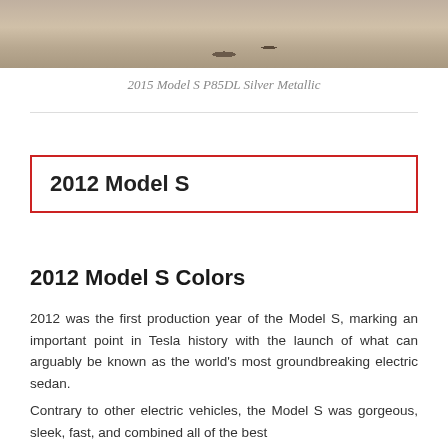[Figure (photo): Partial view of a Tesla Model S P85DL Silver Metallic car on a sandy/dirt surface, showing the top portion of the vehicle.]
2015 Model S P85DL Silver Metallic
2012 Model S
2012 Model S Colors
2012 was the first production year of the Model S, marking an important point in Tesla history with the launch of what can arguably be known as the world's most groundbreaking electric sedan.
Contrary to other electric vehicles, the Model S was gorgeous, sleek, fast, and combined all of the best